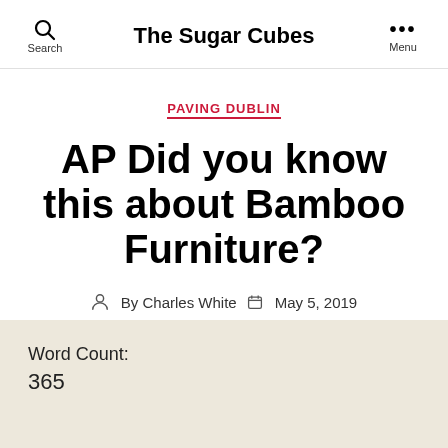Search  The Sugar Cubes  Menu
PAVING DUBLIN
AP Did you know this about Bamboo Furniture?
By Charles White  May 5, 2019
Word Count:
365